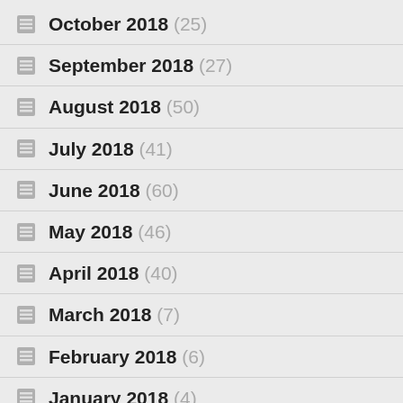October 2018 (25)
September 2018 (27)
August 2018 (50)
July 2018 (41)
June 2018 (60)
May 2018 (46)
April 2018 (40)
March 2018 (7)
February 2018 (6)
January 2018 (4)